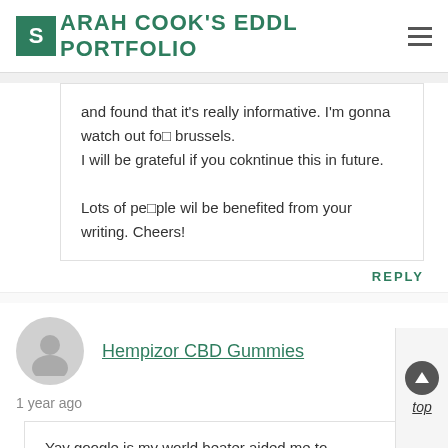SARAH COOK'S EDDL PORTFOLIO
and found that it's really informative. I'm gonna watch out fo  brussels. I will be grateful if you cokntinue this in future.

Lots of pe ple wil be benefited from your writing. Cheers!
REPLY
Hempizor CBD Gummies
1 year ago
Yay google is my world beater aided me to